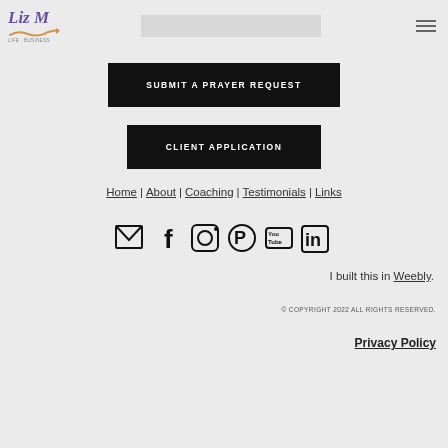[Figure (logo): Liz M coaching logo with stylized text and arrow]
SUBMIT A PRAYER REQUEST
CLIENT APPLICATION
Home | About | Coaching | Testimonials | Links
[Figure (infographic): Social media icons: email, facebook, instagram, pinterest, youtube, linkedin]
I built this in Weebly.
© COPYRIGHT 2022 ALL RIGHTS RESERVED.
Privacy Policy